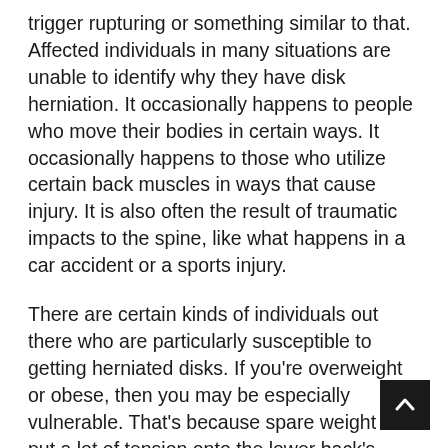trigger rupturing or something similar to that. Affected individuals in many situations are unable to identify why they have disk herniation. It occasionally happens to people who move their bodies in certain ways. It occasionally happens to those who utilize certain back muscles in ways that cause injury. It is also often the result of traumatic impacts to the spine, like what happens in a car accident or a sports injury.
There are certain kinds of individuals out there who are particularly susceptible to getting herniated disks. If you're overweight or obese, then you may be especially vulnerable. That's because spare weight can put a lot of tension onto the lower back's disks. Hereditary factors also play a role. If there are people in your family who have had disk herniation, then you might get it from them.